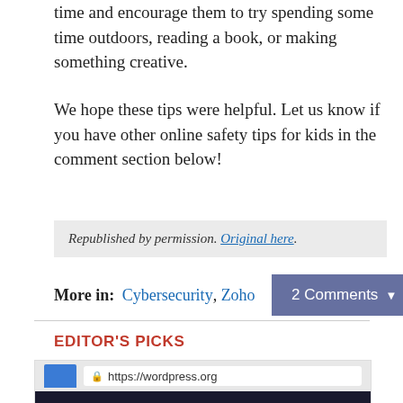time and encourage them to try spending some time outdoors, reading a book, or making something creative.
We hope these tips were helpful. Let us know if you have other online safety tips for kids in the comment section below!
Republished by permission. Original here.
More in: Cybersecurity, Zoho
EDITOR'S PICKS
[Figure (screenshot): Screenshot of a browser showing https://wordpress.org with the WordPress.org logo on a dark background]